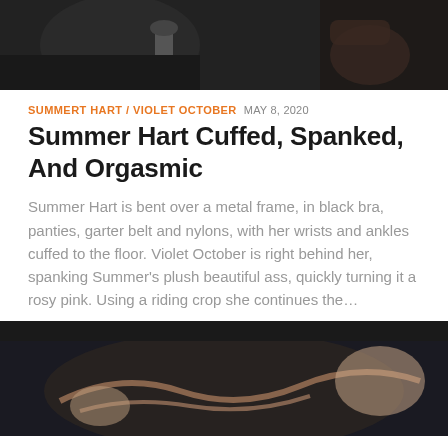[Figure (photo): Dark photo showing a person bent over a metal frame with restraints visible]
SUMMERT HART / VIOLET OCTOBER  MAY 8, 2020
Summer Hart Cuffed, Spanked, And Orgasmic
Summer Hart is bent over a metal frame, in black bra, panties, garter belt and nylons, with her wrists and ankles cuffed to the floor. Violet October is right behind her, spanking Summer's plush beautiful ass, quickly turning it a rosy pink. Using a riding crop she continues the…
[Figure (photo): Dark photo showing a person lying down with rope restraints and another person visible]